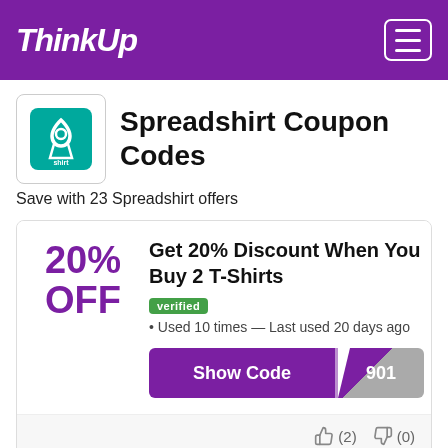ThinkUp
Spreadshirt Coupon Codes
Save with 23 Spreadshirt offers
20% OFF
Get 20% Discount When You Buy 2 T-Shirts
verified • Used 10 times — Last used 20 days ago
Show Code 901
(2)   (0)